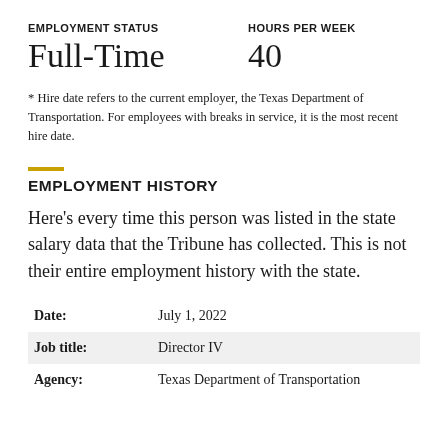EMPLOYMENT STATUS: Full-Time | HOURS PER WEEK: 40
* Hire date refers to the current employer, the Texas Department of Transportation. For employees with breaks in service, it is the most recent hire date.
EMPLOYMENT HISTORY
Here’s every time this person was listed in the state salary data that the Tribune has collected. This is not their entire employment history with the state.
| Field | Value |
| --- | --- |
| Date: | July 1, 2022 |
| Job title: | Director IV |
| Agency: | Texas Department of Transportation |